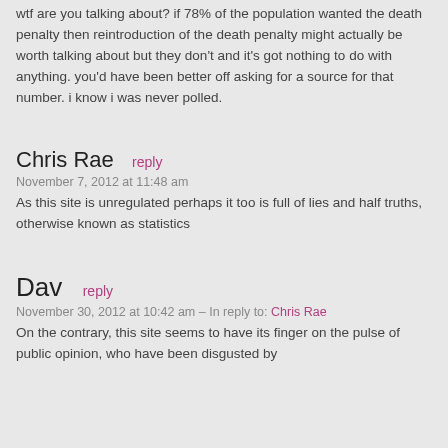wtf are you talking about? if 78% of the population wanted the death penalty then reintroduction of the death penalty might actually be worth talking about but they don't and it's got nothing to do with anything. you'd have been better off asking for a source for that number. i know i was never polled.
Chris Rae reply
November 7, 2012 at 11:48 am
As this site is unregulated perhaps it too is full of lies and half truths, otherwise known as statistics
Dav reply
November 30, 2012 at 10:42 am – In reply to: Chris Rae
On the contrary, this site seems to have its finger on the pulse of public opinion, who have been disgusted by